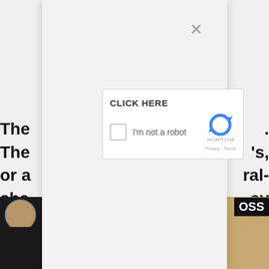[Figure (screenshot): A modal dialog overlay on a webpage showing a reCAPTCHA widget. The modal has a light gray background with a close (X) button in the top right. In the center is a white reCAPTCHA box with text 'CLICK HERE' at the top, a checkbox, the text 'I'm not a robot', the reCAPTCHA logo, and 'Privacy - Terms' at the bottom. Behind the modal, partial webpage text is visible on left and right edges, and photos are visible at the bottom corners.]